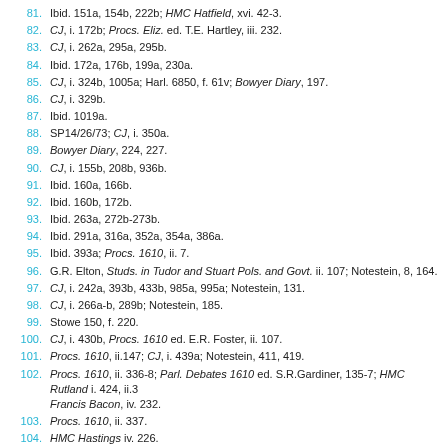81. Ibid. 151a, 154b, 222b; HMC Hatfield, xvi. 42-3.
82. CJ, i. 172b; Procs. Eliz. ed. T.E. Hartley, iii. 232.
83. CJ, i. 262a, 295a, 295b.
84. Ibid. 172a, 176b, 199a, 230a.
85. CJ, i. 324b, 1005a; Harl. 6850, f. 61v; Bowyer Diary, 197.
86. CJ, i. 329b.
87. Ibid. 1019a.
88. SP14/26/73; CJ, i. 350a.
89. Bowyer Diary, 224, 227.
90. CJ, i. 155b, 208b, 936b.
91. Ibid. 160a, 166b.
92. Ibid. 160b, 172b.
93. Ibid. 263a, 272b-273b.
94. Ibid. 291a, 316a, 352a, 354a, 386a.
95. Ibid. 393a; Procs. 1610, ii. 7.
96. G.R. Elton, Studs. in Tudor and Stuart Pols. and Govt. ii. 107; Notestein, 8, 164.
97. CJ, i. 242a, 393b, 433b, 985a, 995a; Notestein, 131.
98. CJ, i. 266a-b, 289b; Notestein, 185.
99. Stowe 150, f. 220.
100. CJ, i. 430b, Procs. 1610 ed. E.R. Foster, ii. 107.
101. Procs. 1610, ii.147; CJ, i. 439a; Notestein, 411, 419.
102. Procs. 1610, ii. 336-8; Parl. Debates 1610 ed. S.R.Gardiner, 135-7; HMC Rutland i. 424, ii.3; Francis Bacon, iv. 232.
103. Procs. 1610, ii. 337.
104. HMC Hastings iv. 226.